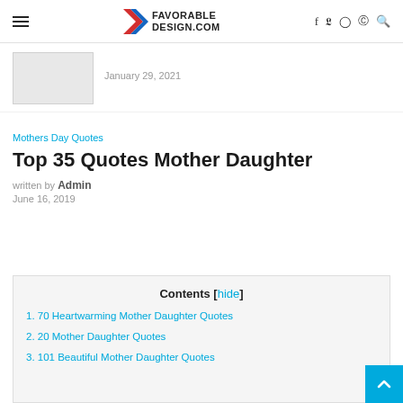FAVORABLE DESIGN.COM
January 29, 2021
Mothers Day Quotes
Top 35 Quotes Mother Daughter
written by Admin
June 16, 2019
Contents [hide]
1. 70 Heartwarming Mother Daughter Quotes
2. 20 Mother Daughter Quotes
3. 101 Beautiful Mother Daughter Quotes